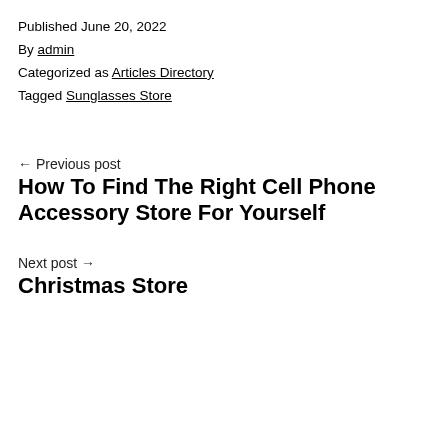Published June 20, 2022
By admin
Categorized as Articles Directory
Tagged Sunglasses Store
← Previous post
How To Find The Right Cell Phone Accessory Store For Yourself
Next post →
Christmas Store